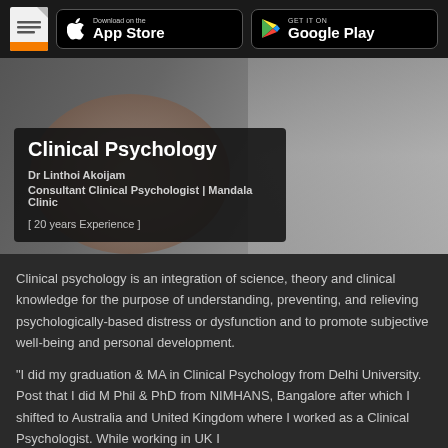Clinical Psychology - Dr Linthoi Akoijam | App Store | Google Play
[Figure (photo): Hero banner showing a brain and puzzle pieces with a person in white coat, overlaid with a dark card showing Clinical Psychology heading and doctor details]
Clinical Psychology
Dr Linthoi Akoijam
Consultant Clinical Psychologist | Mandala Clinic
[ 20 years Experience ]
Clinical psychology is an integration of science, theory and clinical knowledge for the purpose of understanding, preventing, and relieving psychologically-based distress or dysfunction and to promote subjective well-being and personal development.
"I did my graduation & MA in Clinical Psychology from Delhi University. Post that I did M Phil & PhD from NIMHANS, Bangalore after which I shifted to Australia and United Kingdom where I worked as a Clinical Psychologist. While working in UK I